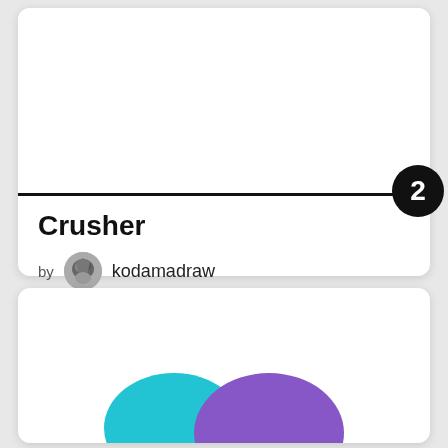[Figure (illustration): Card with white image area above a thick black dividing line, with a circular badge showing '2']
Crusher
by kodamadraw
BUY NOW FOR 70
[Figure (illustration): Second card showing colorful blob shapes (teal and purple) at the bottom]